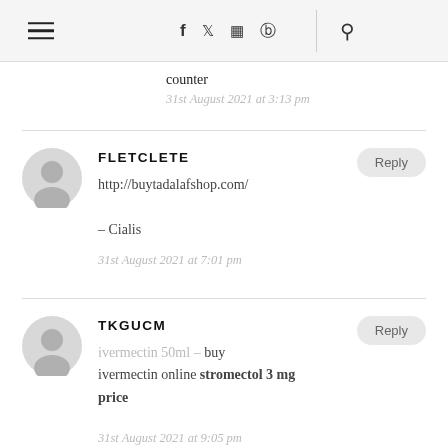Navigation header with hamburger menu, social icons (f, twitter, instagram, pinterest), and search icon
counter
31st August 2021 at 3:13 pm
FLETCLETE
http://buytadalafshop.com/
– Cialis
31st August 2021 at 7:01 pm
TKGUCM
ivermectin 50ml – buy ivermectin online stromectol 3 mg price
31st August 2021 at 9:05 pm